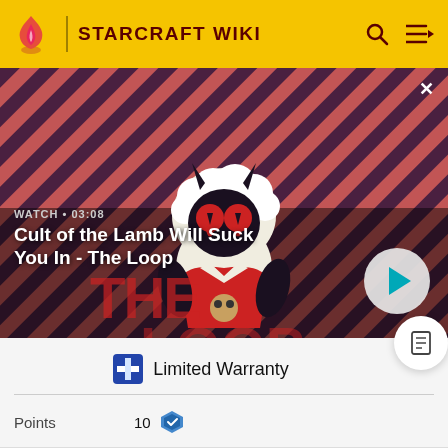STARCRAFT WIKI
[Figure (screenshot): Video thumbnail showing Cult of the Lamb character with red striped background. Text overlay: WATCH • 03:08. Title: Cult of the Lamb Will Suck You In - The Loop]
Limited Warranty
Points: 10
Criteria: Repair less than 5000 damage on the Odin in the "Engine of Destruction"